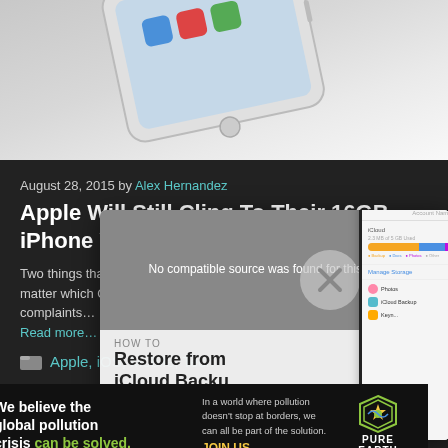[Figure (photo): iPhone lying on a white surface, showing home screen apps, viewed from above at an angle]
August 28, 2015 by Alex Hernandez
Apple Will Still Cling To Their 16GB iPhone Variant [Rumor]
Two things that seem to always run out in today's smartphones (no matter which OS). Battery and storage. One of the long running complaints...
Read more…
Apple, iOS, Mobile, Tech
[Figure (screenshot): Video overlay showing 'No compatible source was found for this media.' message with How to Restore from iCloud Backup title, and iCloud settings screenshot on right]
[Figure (photo): Pure Earth advertisement banner: 'We believe the global pollution crisis can be solved.' with tagline and JOIN US call to action]